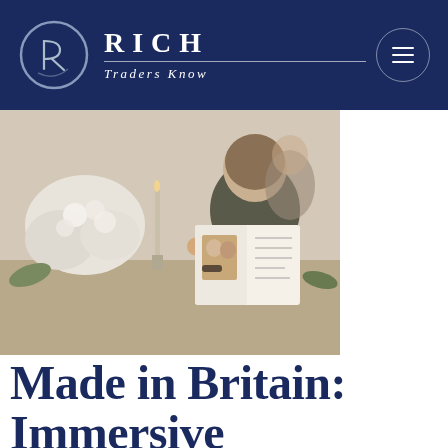RICH Traders Know
[Figure (photo): Person seated at a decorated wedding table, holding and reading an open booklet/brochure with a couple's photo inside. White floral centerpiece and candle visible in background.]
Made in Britain: Immersive wedding brand 'Cha...